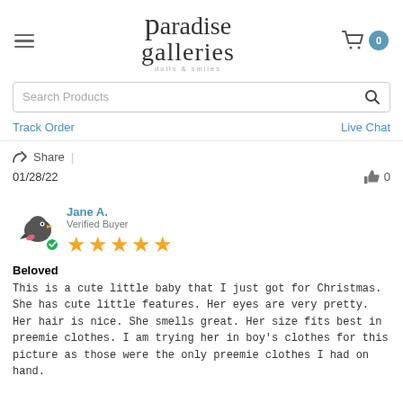Paradise Galleries dolls & smiles
Search Products
Track Order | Live Chat
Share |
01/28/22  👍 0
Jane A. — Verified Buyer — 5 stars
Beloved
This is a cute little baby that I just got for Christmas. She has cute little features. Her eyes are very pretty. Her hair is nice. She smells great. Her size fits best in preemie clothes. I am trying her in boy's clothes for this picture as those were the only preemie clothes I had on hand.